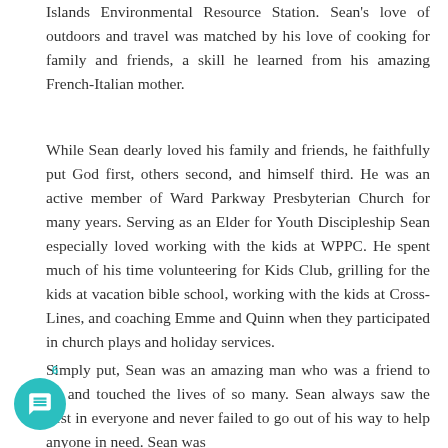Islands Environmental Resource Station. Sean's love of outdoors and travel was matched by his love of cooking for family and friends, a skill he learned from his amazing French-Italian mother.
While Sean dearly loved his family and friends, he faithfully put God first, others second, and himself third. He was an active member of Ward Parkway Presbyterian Church for many years. Serving as an Elder for Youth Discipleship Sean especially loved working with the kids at WPPC. He spent much of his time volunteering for Kids Club, grilling for the kids at vacation bible school, working with the kids at Cross-Lines, and coaching Emme and Quinn when they participated in church plays and holiday services.
Simply put, Sean was an amazing man who was a friend to all and touched the lives of so many. Sean always saw the best in everyone and never failed to go out of his way to help anyone in need. Sean was